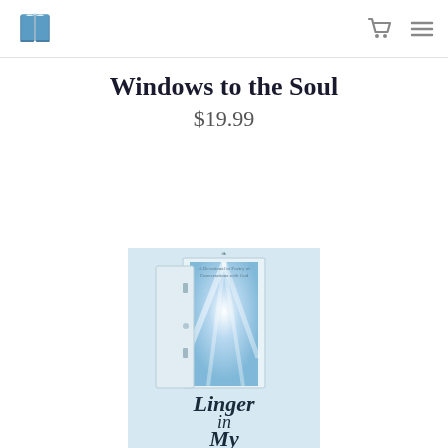Bookstore logo, cart icon, hamburger menu
Windows to the Soul
$19.99
[Figure (photo): Book cover for 'Linger in My...' — A Devotional in Poetry of Conversations with God. Shows an open white door with bright blue sky and light streaming through. Large italic title text 'Linger in My' at bottom. Light blue background.]